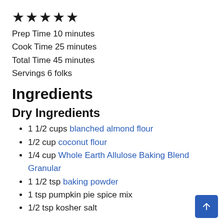★★★★★
Prep Time 10 minutes
Cook Time 25 minutes
Total Time 45 minutes
Servings 6 folks
Ingredients
Dry Ingredients
1 1/2 cups blanched almond flour
1/2 cup coconut flour
1/4 cup Whole Earth Allulose Baking Blend Granular
1 1/2 tsp baking powder
1 tsp pumpkin pie spice mix
1/2 tsp kosher salt